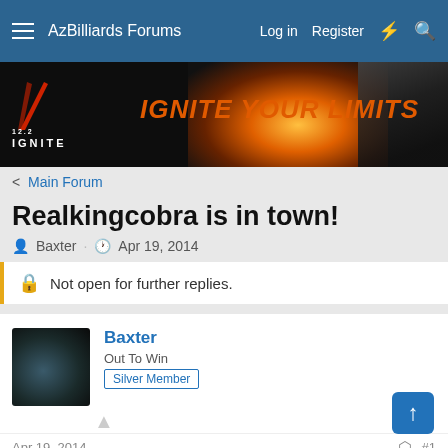AzBilliards Forums   Log in   Register
[Figure (illustration): IGNITE YOUR LIMITS banner advertisement with billiard cue and glowing orange light on black background]
< Main Forum
Realkingcobra is in town!
Baxter · Apr 19, 2014
Not open for further replies.
Baxter
Out To Win   Silver Member
Apr 19, 2014   #1
Glenn just got into town to rebuild one of our Diamond tables at The Downlo here in Chico, CA! These are all original red label Diamonds. Management can't swing the prices to have them all done, but we are having our front "action table" completely